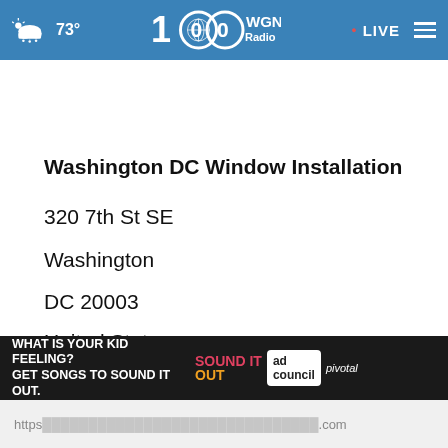[Figure (screenshot): WGN Radio website header with weather (cloud icon, 73°), WGN 100 Radio logo in center, red dot LIVE indicator and hamburger menu on right, blue background]
Washington DC Window Installation
320 7th St SE
Washington
DC 20003
United States
(202) 932-9680
[Figure (infographic): Ad banner: 'WHAT IS YOUR KID FEELING? GET SONGS TO SOUND IT OUT.' with Sound It Out and Ad Council / Pivotal branding]
https                                         .com